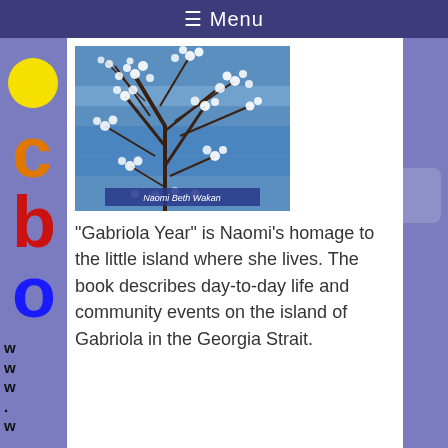☰ Menu
[Figure (photo): Book cover of 'Gabriola Year' by Naomi Beth Wakan. Shows a flowering cherry tree with white blossoms against a blue water/mountain background. Author's name 'Naomi Beth Wakan' appears in a blue label at the bottom of the cover.]
"Gabriola Year" is Naomi's homage to the little island where she lives. The book describes day-to-day life and community events on the island of Gabriola in the Georgia Strait.